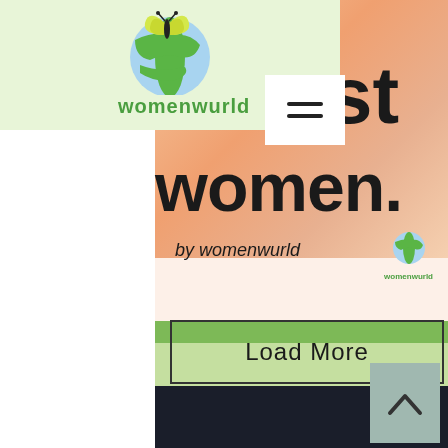[Figure (logo): Womenwurld logo: globe with butterfly and green text 'womenwurld']
[Figure (screenshot): Hamburger menu icon (three horizontal lines) in white box]
st
women.
by womenwurld
[Figure (logo): Small womenwurld globe logo with text underneath]
[Figure (other): Load More button with border]
[Figure (other): Back to top chevron arrow button]